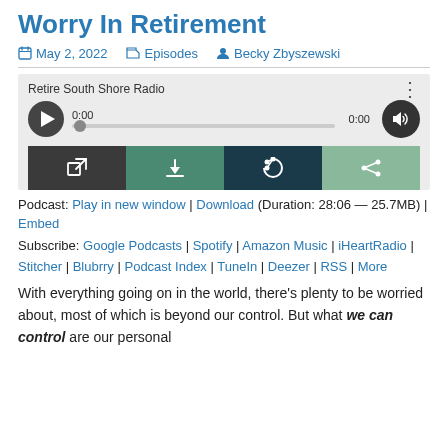Worry In Retirement
May 2, 2022  Episodes  Becky Zbyszewski
[Figure (screenshot): Audio player widget for 'Retire South Shore Radio' showing play button, time 0:00, progress bar, volume button, and four action buttons: open in new window (dark grey), download (teal), RSS feed (dark blue), share (light green).]
Podcast: Play in new window | Download (Duration: 28:06 — 25.7MB) | Embed
Subscribe: Google Podcasts | Spotify | Amazon Music | iHeartRadio | Stitcher | Blubrry | Podcast Index | TuneIn | Deezer | RSS | More
With everything going on in the world, there's plenty to be worried about, most of which is beyond our control. But what we can control are our personal